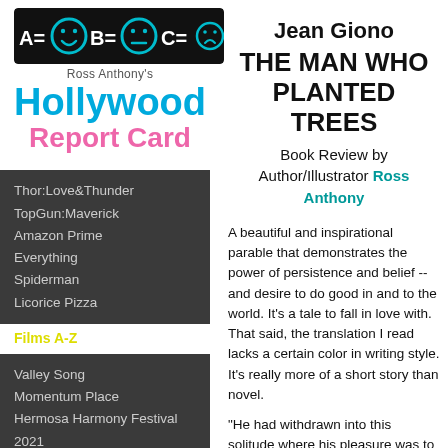[Figure (logo): Hollywood Report Card logo banner with A=smiley B=neutral C=sad face rating system on black background]
Ross Anthony's
Hollywood
Report Card
Thor:Love&Thunder
TopGun:Maverick
Amazon Prime
Everything
Spiderman
Licorice Pizza
Films A-Z
Valley Song
Momentum Place
Hermosa Harmony Festival 2021
UnRavelled
Blues in the Night
Mesmerica
Jean Giono
THE MAN WHO PLANTED TREES
Book Review by Author/Illustrator Ross Anthony
A beautiful and inspirational parable that demonstrates the power of persistence and belief -- and desire to do good in and to the world. It's a tale to fall in love with. That said, the translation I read lacks a certain color in writing style. It's really more of a short story than novel.
"He had withdrawn into this solitude where his pleasure was to live leisurely with his